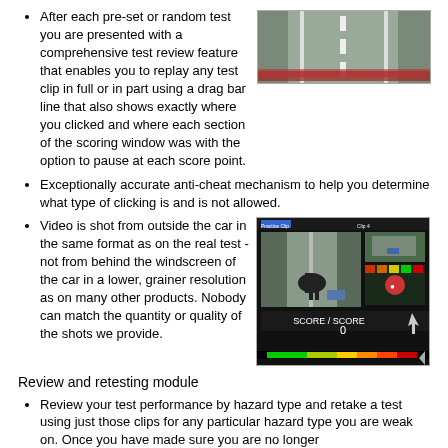After each pre-set or random test you are presented with a comprehensive test review feature that enables you to replay any test clip in full or in part using a drag bar line that also shows exactly where you clicked and where each section of the scoring window was with the option to pause at each score point.
[Figure (screenshot): Screenshot of a road/driving video showing lane markings from above, with a red bar overlay at the bottom]
Exceptionally accurate anti-cheat mechanism to help you determine what type of clicking is and is not allowed.
Video is shot from outside the car in the same format as on the real test - not from behind the windscreen of the car in a lower, grainer resolution as on many other products. Nobody can match the quantity or quality of the shots we provide.
[Figure (screenshot): Screenshot of a hazard perception test software interface showing a horse and rider on a road with a car, plus additional video panels on the right, score display showing 0, and a green-yellow-red progress bar at the bottom]
Review and retesting module
Review your test performance by hazard type and retake a test using just those clips for any particular hazard type you are weak on. Once you have made sure you are no longer weak on a particular type of hazard the test results will